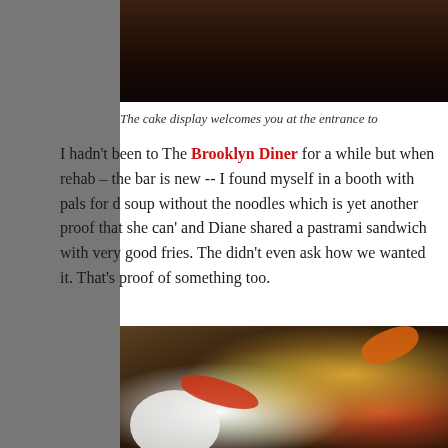[Figure (photo): Top portion of a dark restaurant interior photo, partially visible]
The cake display welcomes you at the entrance to
I hadn't been to The Brooklyn Diner for a while but when rehab – the bar is new -- I found myself in a booth with pals for d soup without the noodles which is yet another proof that she can' and Diane shared a pastrami sandwich with very good fries. The didn't even ask how we wanted it. That's proof of something too.
[Figure (photo): Close-up photo of a colorful salad dish with shredded vegetables, red peppers, green pieces, white cheese drizzle, and an orange tortilla chip on top, served on a white plate]